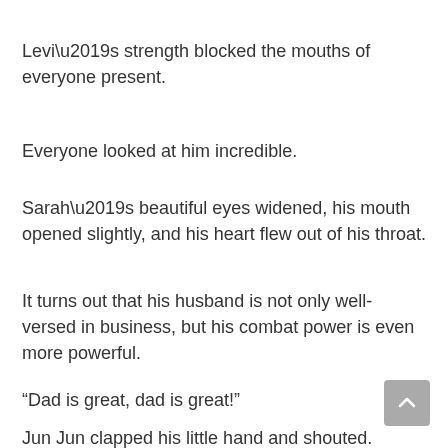Levi’s strength blocked the mouths of everyone present.
Everyone looked at him incredible.
Sarah’s beautiful eyes widened, his mouth opened slightly, and his heart flew out of his throat.
It turns out that his husband is not only well-versed in business, but his combat power is even more powerful.
“Dad is great, dad is great!”
Jun Jun clapped his little hand and shouted.